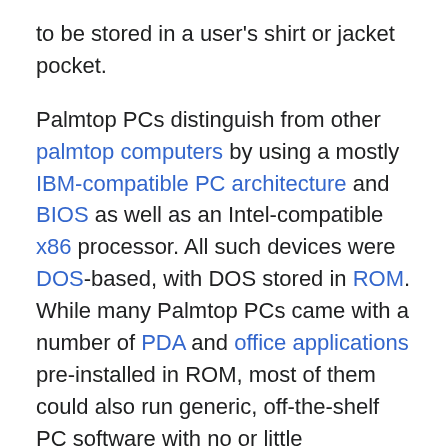to be stored in a user's shirt or jacket pocket.
Palmtop PCs distinguish from other palmtop computers by using a mostly IBM-compatible PC architecture and BIOS as well as an Intel-compatible x86 processor. All such devices were DOS-based, with DOS stored in ROM. While many Palmtop PCs came with a number of PDA and office applications pre-installed in ROM, most of them could also run generic, off-the-shelf PC software with no or little modifications. Some could also run other operating systems such as GEOS, Windows 1.0-3.0 (in Real mode only), or MINIX 2.0.
Most Palmtop PCs were based on a static hardware design for low power consumption and instant-on/off without the need to reboot. Depending on the model, the battery could power the device for a period ranging from several hours up to several days while running, or